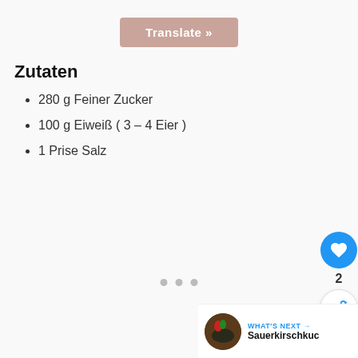[Figure (other): Translate button UI element with rose/mauve background]
Zutaten
280 g Feiner Zucker
100 g Eiweiß ( 3 – 4 Eier )
1 Prise Salz
[Figure (other): Heart/like button (blue circle), count label '2', share button (white circle), and 'WHAT'S NEXT' navigation bar with Sauerkirschkuc... label and food thumbnail]
[Figure (other): Three gray dots pagination indicator]